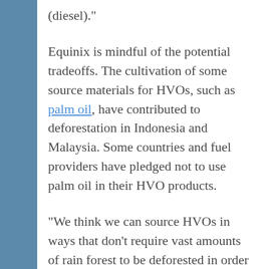(diesel)."
Equinix is mindful of the potential tradeoffs. The cultivation of some source materials for HVOs, such as palm oil, have contributed to deforestation in Indonesia and Malaysia. Some countries and fuel providers have pledged not to use palm oil in their HVO products.
“We think we can source HVOs in ways that don’t require vast amounts of rain forest to be deforested in order to make the stuff to produce the HVOs in the first place,” [continues below]